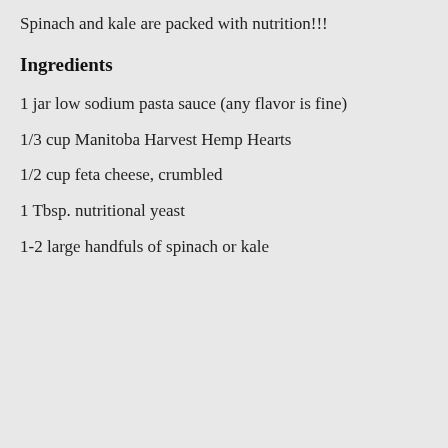Spinach and kale are packed with nutrition!!!
Ingredients
1 jar low sodium pasta sauce (any flavor is fine)
1/3 cup Manitoba Harvest Hemp Hearts
1/2 cup feta cheese, crumbled
1 Tbsp. nutritional yeast
1-2 large handfuls of spinach or kale